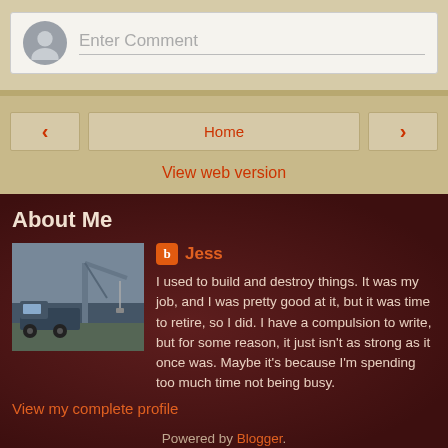Enter Comment
‹
Home
›
View web version
About Me
[Figure (photo): Profile photo of Jess showing a crane/construction vehicle]
Jess
I used to build and destroy things. It was my job, and I was pretty good at it, but it was time to retire, so I did. I have a compulsion to write, but for some reason, it just isn't as strong as it once was. Maybe it's because I'm spending too much time not being busy.
View my complete profile
Powered by Blogger.